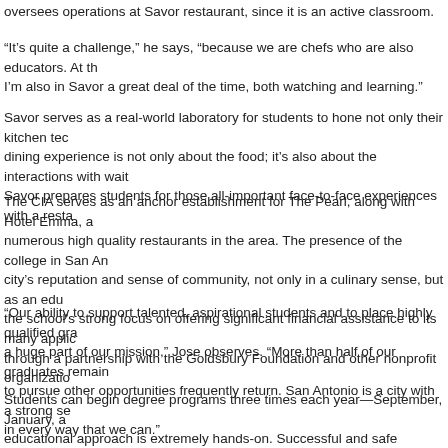oversees operations at Savor restaurant, since it is an active classroom.
“It’s quite a challenge,” he says, “because we are chefs who are also educators. At th… I’m also in Savor a great deal of the time, both watching and learning.”
Savor serves as a real-world laboratory for students to hone not only their kitchen tec… dining experience is not only about the food; it’s also about the interactions with wait… Savor prepares students for those all-important face-to-face experiences with a resta…
The CIA serves as an anchor establishment for The Pearl, along with Hotel Emma, a… numerous high quality restaurants in the area. The presence of the college in San An… city’s reputation and sense of community, not only in a culinary sense, but as an edu… the school’s strong focus on offering significant financial assistance to its many applic… through a partnership with the Goldsbury Foundation and other nonprofit organizatio…
“Our ability to support talented, aspirational students and to place highly qualified gra… a huge part of our mission,” Jose observes. “More than half of our graduates remain… to pursue other opportunities frequently return. San Antonio is a city with a strong se… in every way that we can.”
Students can begin degree programs three times each year—September, January, a… educational approach is extremely hands-on. Successful and safe education in a live… students at once requires a high level of organization and attention to the tempo of w…